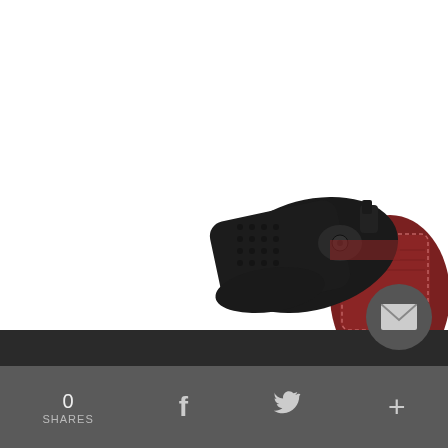Comfortable Belt Holster - It. 34
$79
★★★★★ (850)
[Figure (photo): A revolver handgun in a brown leather belt holster, product photo cropped at bottom of page]
0 SHARES  f  t  +